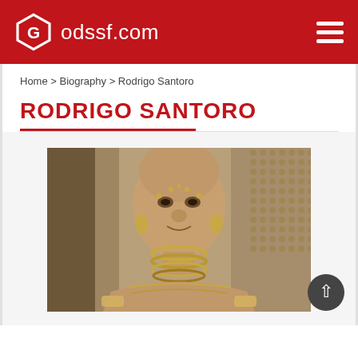odssf.com
Home > Biography > Rodrigo Santoro
RODRIGO SANTORO
[Figure (photo): Photo of Rodrigo Santoro in character as Xerxes from the film 300, wearing elaborate gold jewelry, piercings, and neck rings, with a shaved head and dramatic makeup, set against a dark ornate background.]